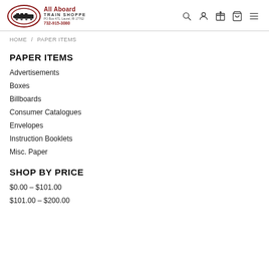All Aboard Train Shoppe — navigation header with logo and icons
HOME / PAPER ITEMS
PAPER ITEMS
Advertisements
Boxes
Billboards
Consumer Catalogues
Envelopes
Instruction Booklets
Misc. Paper
SHOP BY PRICE
$0.00 – $101.00
$101.00 – $200.00